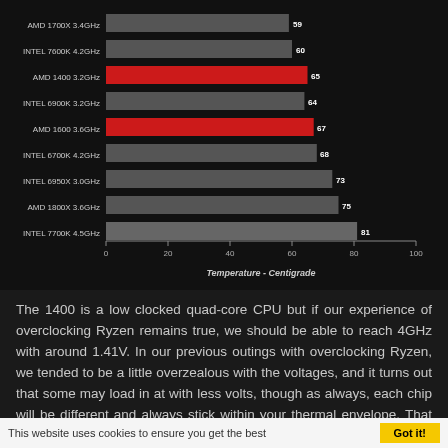[Figure (bar-chart): Temperature - Centigrade]
The 1400 is a low clocked quad-core CPU but if our experience of overclocking Ryzen remains true, we should be able to reach 4GHz with around 1.41V. In our previous outings with overclocking Ryzen, we tended to be a little overzealous with the voltages, and it turns out that some may load in at with less volts, though as always, each chip will be different and always stick within your thermal envelope. That being said, the 1400 was
This website uses cookies to ensure you get the best